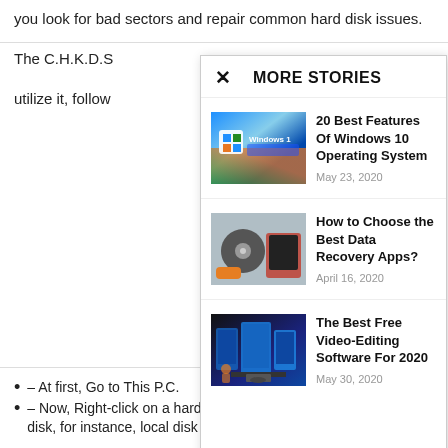you look for bad sectors and repair common hard disk issues.
The C.H.K.D.S
utilize it, follow
MORE STORIES
20 Best Features Of Windows 10 Operating System
May 23, 2020
How to Choose the Best Data Recovery Apps?
April 16, 2020
The Best Free Video-Editing Software For 2020
May 30, 2020
– At first, Go to This P.C.
– Now, Right-click on a hard disk, for instance, local disk